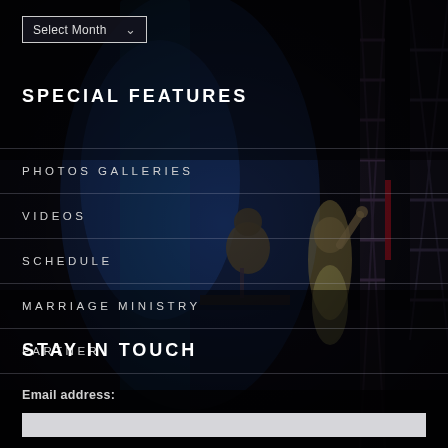[Figure (photo): Dark background with concert scene showing two performers on stage with stage lighting and metal truss structures. A male performer at a keyboard/microphone and a female performer with long blonde hair raising her hand.]
Select Month
SPECIAL FEATURES
PHOTOS GALLERIES
VIDEOS
SCHEDULE
MARRIAGE MINISTRY
PARTNER
STAY IN TOUCH
Email address: